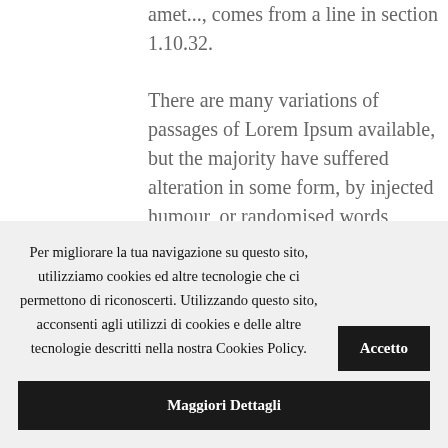amet..., comes from a line in section 1.10.32.
There are many variations of passages of Lorem Ipsum available, but the majority have suffered alteration in some form, by injected humour, or randomised words which don't look even slightly believable. If you are going to use a passage...
Per migliorare la tua navigazione su questo sito, utilizziamo cookies ed altre tecnologie che ci permettono di riconoscerti. Utilizzando questo sito, acconsenti agli utilizzi di cookies e delle altre tecnologie descritti nella nostra Cookies Policy.
Accetto
Maggiori Dettagli